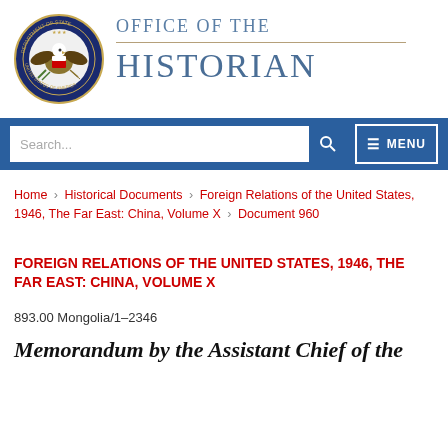[Figure (logo): U.S. Department of State seal with eagle and shield, circular blue border with text 'Department of State United States of America']
OFFICE OF THE HISTORIAN
[Figure (screenshot): Navigation bar with search box and menu button]
Home › Historical Documents › Foreign Relations of the United States, 1946, The Far East: China, Volume X › Document 960
FOREIGN RELATIONS OF THE UNITED STATES, 1946, THE FAR EAST: CHINA, VOLUME X
893.00 Mongolia/1–2346
Memorandum by the Assistant Chief of the